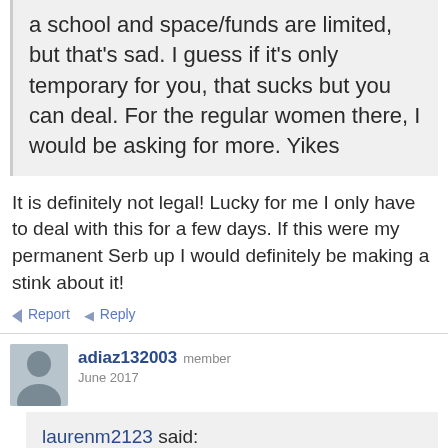a school and space/funds are limited, but that's sad. I guess if it's only temporary for you, that sucks but you can deal. For the regular women there, I would be asking for more. Yikes
It is definitely not legal! Lucky for me I only have to deal with this for a few days. If this were my permanent Serb up I would definitely be making a stink about it!
Report   Reply
adiaz132003 member June 2017
laurenm2123 said: show previous quotes It is definitely not legal! Lucky for me I